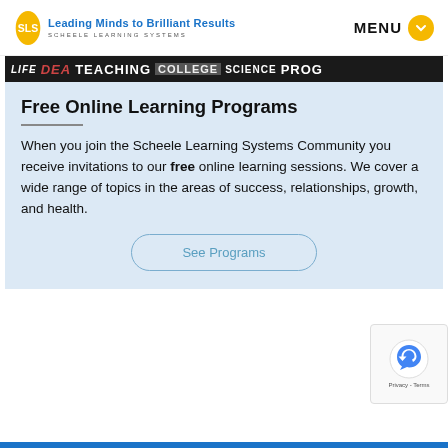Leading Minds to Brilliant Results — SCHEELE LEARNING SYSTEMS | MENU
[Figure (photo): Banner image showing words: LIFE, DEA, TEACHING, COLLEGE, SCIENCE, PROG in bold uppercase letters on dark background]
Free Online Learning Programs
When you join the Scheele Learning Systems Community you receive invitations to our free online learning sessions. We cover a wide range of topics in the areas of success, relationships, growth, and health.
See Programs
[Figure (other): reCAPTCHA widget with Google logo, Privacy - Terms text]